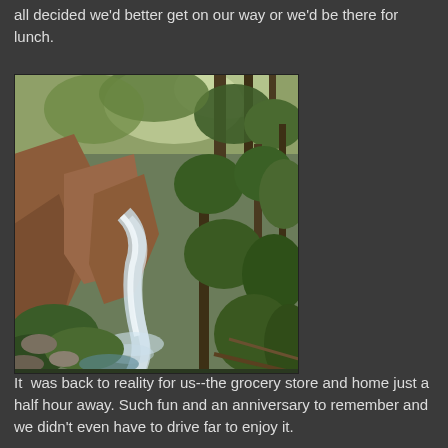all decided we'd better get on our way or we'd be there for lunch.
[Figure (photo): A waterfall cascading over rocks surrounded by lush green trees and forest vegetation, viewed from above at an angle.]
It  was back to reality for us--the grocery store and home just a half hour away. Such fun and an anniversary to remember and we didn't even have to drive far to enjoy it.